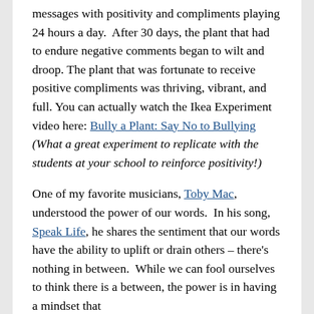messages with positivity and compliments playing 24 hours a day.  After 30 days, the plant that had to endure negative comments began to wilt and droop.  The plant that was fortunate to receive positive compliments was thriving, vibrant, and full. You can actually watch the Ikea Experiment video here: Bully a Plant: Say No to Bullying (What a great experiment to replicate with the students at your school to reinforce positivity!)
One of my favorite musicians, Toby Mac, understood the power of our words.  In his song, Speak Life, he shares the sentiment that our words have the ability to uplift or drain others – there's nothing in between.  While we can fool ourselves to think there is a between, the power is in having a mindset that